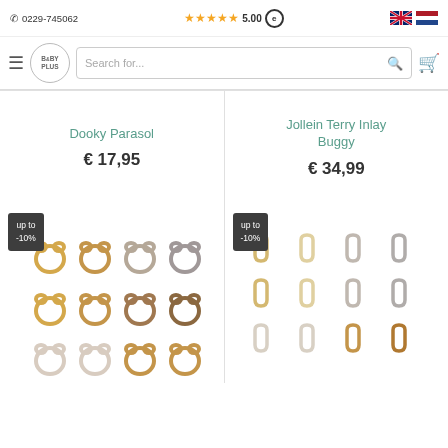☎ 0229-745062  ★★★★★ 5.00 (e)
[Figure (screenshot): BabyPlus webshop navigation bar with hamburger menu, logo, search bar, and cart icon]
Dooky Parasol
€ 17,95
Jollein Terry Inlay Buggy
€ 34,99
[Figure (photo): Grid of bear-shaped silicone rings in various colors (gold, tan, grey, brown) - 12 rings shown, with 'up to -10%' badge]
[Figure (photo): Grid of D-shaped/teardrop silicone links in various colors (gold, tan, grey, brown) - 12 links shown, with 'up to -10%' badge]